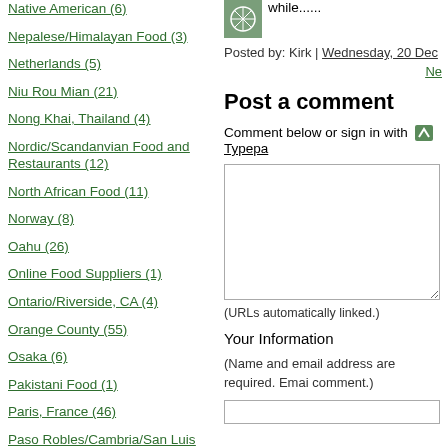Native American (6)
Nepalese/Himalayan Food (3)
Netherlands (5)
Niu Rou Mian (21)
Nong Khai, Thailand (4)
Nordic/Scandanvian Food and Restaurants (12)
North African Food (11)
Norway (8)
Oahu (26)
Online Food Suppliers (1)
Ontario/Riverside, CA (4)
Orange County (55)
Osaka (6)
Pakistani Food (1)
Paris, France (46)
Paso Robles/Cambria/San Luis Obispo County (23)
Persian Restaurants (6)
while......
Posted by: Kirk | Wednesday, 20 Dec
Ne
Post a comment
Comment below or sign in with Typepa
(URLs automatically linked.)
Your Information
(Name and email address are required. Emai comment.)